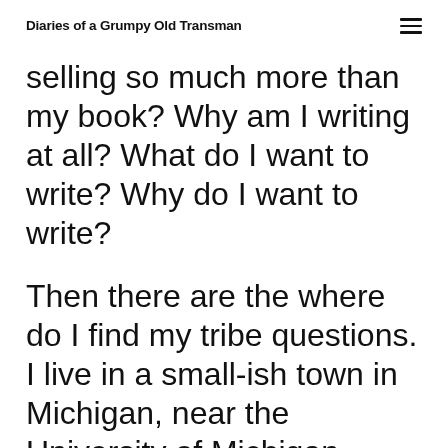Diaries of a Grumpy Old Transman
selling so much more than my book? Why am I writing at all? What do I want to write? Why do I want to write?
Then there are the where do I find my tribe questions. I live in a small-ish town in Michigan, near the University of Michigan